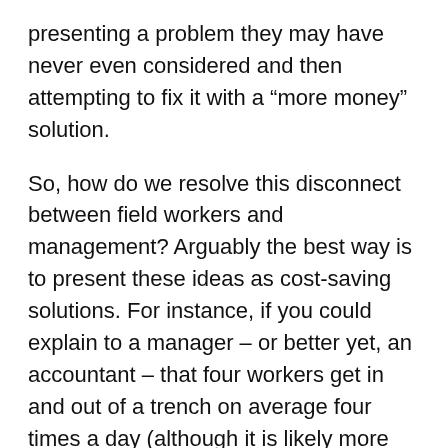presenting a problem they may have never even considered and then attempting to fix it with a “more money” solution.
So, how do we resolve this disconnect between field workers and management? Arguably the best way is to present these ideas as cost-saving solutions. For instance, if you could explain to a manager – or better yet, an accountant – that four workers get in and out of a trench on average four times a day (although it is likely more often), five days a week, spending about seven-and-a-half minutes each time cleaning off their boots and tools, you could make the case that the crew is hemorrhaging 600 minutes (4 x 4 x 5 x 7.5 = 600) or 10 labor hours a week for that one activity alone. This does not even attempt to account for lost productivity while working in the trench.
Suddenly, the cost of crushed stone does not seem sky is falling. Using this same approach, you could make a